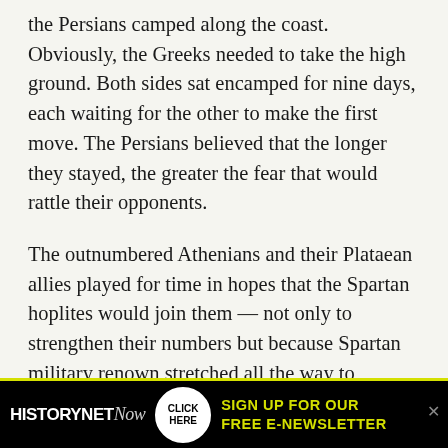the Persians camped along the coast. Obviously, the Greeks needed to take the high ground. Both sides sat encamped for nine days, each waiting for the other to make the first move. The Persians believed that the longer they stayed, the greater the fear that would rattle their opponents.
The outnumbered Athenians and their Plataean allies played for time in hopes that the Spartan hoplites would join them — not only to strengthen their numbers but because Spartan military renown stretched all the way to Persepolis, and a Spartan presence would surely dent Persian confidence. On the other hand, the longer the Persians stayed, the more cities would submit to them, lowering the confidence of the Athenian
[Figure (infographic): HistoryNet Now advertisement banner with black background and yellow border. Left: HISTORYNET Now logo in white and gray italic. Center: circular white button with CLICK HERE text. Right: yellow text reading SIGN UP FOR OUR FREE E-NEWSLETTER.]